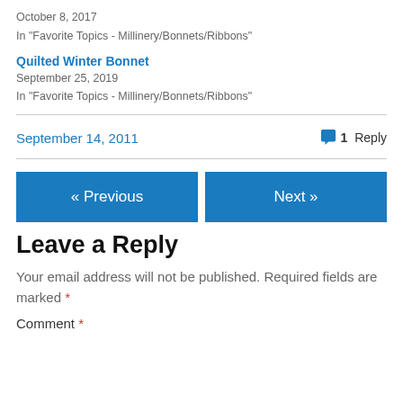October 8, 2017
In "Favorite Topics - Millinery/Bonnets/Ribbons"
Quilted Winter Bonnet
September 25, 2019
In "Favorite Topics - Millinery/Bonnets/Ribbons"
September 14, 2011
1 Reply
« Previous
Next »
Leave a Reply
Your email address will not be published. Required fields are marked *
Comment *